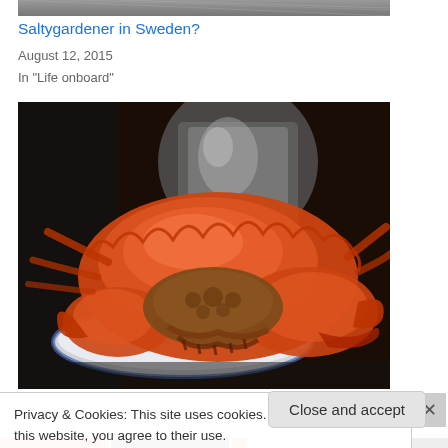[Figure (photo): Top portion of an image, partially cropped, appearing to show some outdoor or landscape scene in grayscale tones]
Saltygardener in Sweden?
August 12, 2015
In "Life onboard"
[Figure (photo): Close-up photograph of a large cooked crab (orange/red color) on a plate, with claws and shell visible, placed on what appears to be a kitchen counter with metallic objects in the background]
Privacy & Cookies: This site uses cookies. By continuing to use this website, you agree to their use.
To find out more, including how to control cookies, see here: Cookie Policy
Close and accept